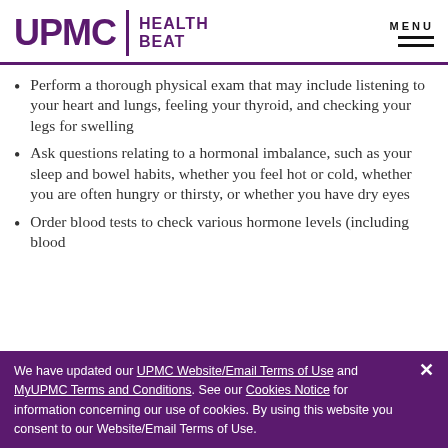UPMC HEALTH BEAT | MENU
Perform a thorough physical exam that may include listening to your heart and lungs, feeling your thyroid, and checking your legs for swelling
Ask questions relating to a hormonal imbalance, such as your sleep and bowel habits, whether you feel hot or cold, whether you are often hungry or thirsty, or whether you have dry eyes
Order blood tests to check various hormone levels (including blood
We have updated our UPMC Website/Email Terms of Use and MyUPMC Terms and Conditions. See our Cookies Notice for information concerning our use of cookies. By using this website you consent to our Website/Email Terms of Use.